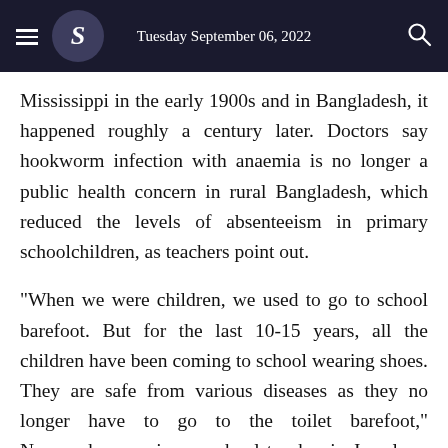Tuesday September 06, 2022
Mississippi in the early 1900s and in Bangladesh, it happened roughly a century later. Doctors say hookworm infection with anaemia is no longer a public health concern in rural Bangladesh, which reduced the levels of absenteeism in primary schoolchildren, as teachers point out.
"When we were children, we used to go to school barefoot. But for the last 10-15 years, all the children have been coming to school wearing shoes. They are safe from various diseases as they no longer have to go to the toilet barefoot," Nurunnahar, a primary school teacher in Jamalpur, told The Business Standard.